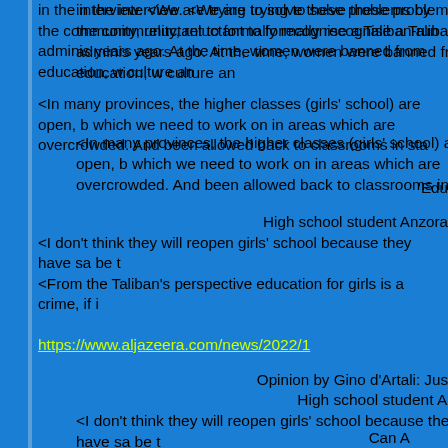in the interview. <We are trying to solve these problems by the community, reluctant to formally recognise a Taliban-run administration years ago. At the time, women were banned from education, w culture an
<In many provinces, the higher classes (girls' school) are open, b which we need to work on in areas which are overcrowded. And been allowed back to classrooms in sta
'Edu
High school student Anzora <I don't think they will reopen girls' school because they have sa be t <From the Taliban's perspective education for girls is a crime, if i
https://www.aljazeera.com/news/2022/1
Opinion by Gino d'Artali: Jus
Can A